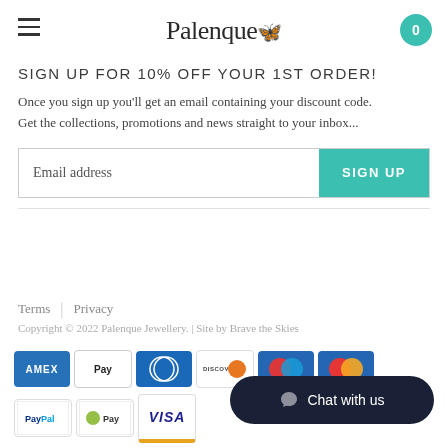Palenque 0
SIGN UP FOR 10% OFF YOUR 1ST ORDER!
Once you sign up you'll get an email containing your discount code. Get the collections, promotions and news straight to your inbox...
[Figure (infographic): Email address input field with SIGN UP button]
Terms | Privacy
Copyright © 2022 Palenque Jewellery. | Site by Brave the Skies
[Figure (infographic): Payment method icons: American Express, Apple Pay, Diners Club, Discover, Maestro, Mastercard, PayPal, Shopify Pay, Visa]
[Figure (infographic): Chat with us button in dark navy rounded pill shape]